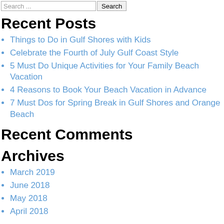Search ...  Search
Recent Posts
Things to Do in Gulf Shores with Kids
Celebrate the Fourth of July Gulf Coast Style
5 Must Do Unique Activities for Your Family Beach Vacation
4 Reasons to Book Your Beach Vacation in Advance
7 Must Dos for Spring Break in Gulf Shores and Orange Beach
Recent Comments
Archives
March 2019
June 2018
May 2018
April 2018